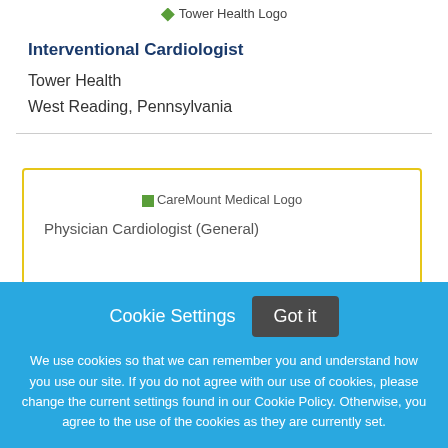[Figure (logo): Tower Health Logo with green diamond icon]
Interventional Cardiologist
Tower Health
West Reading, Pennsylvania
[Figure (logo): CareMount Medical Logo inside yellow-bordered card]
Physician Cardiologist (General) [partially visible]
Cookie Settings   Got it

We use cookies so that we can remember you and understand how you use our site. If you do not agree with our use of cookies, please change the current settings found in our Cookie Policy. Otherwise, you agree to the use of the cookies as they are currently set.